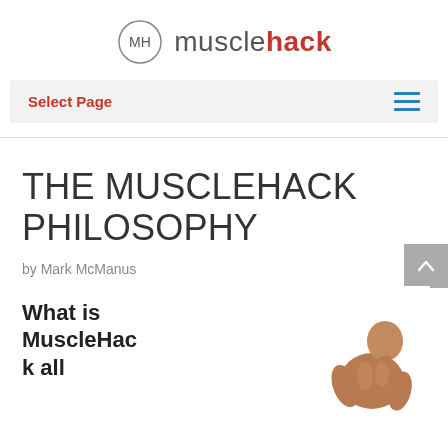MH musclehack
Select Page
THE MUSCLEHACK PHILOSOPHY
by Mark McManus
What is MuscleHack all
[Figure (photo): A muscular man leaning forward, shirtless, photographed from the side/back, shown from waist up]